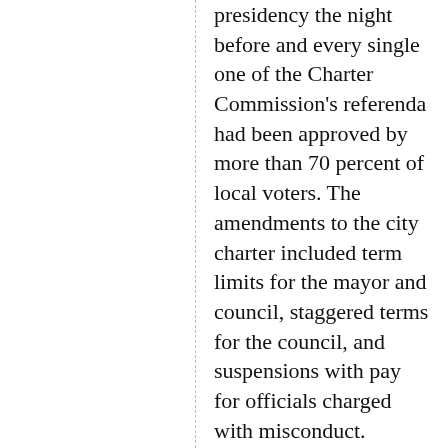presidency the night before and every single one of the Charter Commission's referenda had been approved by more than 70 percent of local voters. The amendments to the city charter included term limits for the mayor and council, staggered terms for the council, and suspensions with pay for officials charged with misconduct.
A proposal that would require a public referendum prior to a sale of the city's MLGW division — the idea that was the birth of the Charter Commission process — was approved by 80 percent of the voters.
"We did go over every piece of data we got from the public," said Charter Commission member Sylvia Cox. "The votes show that what was on the